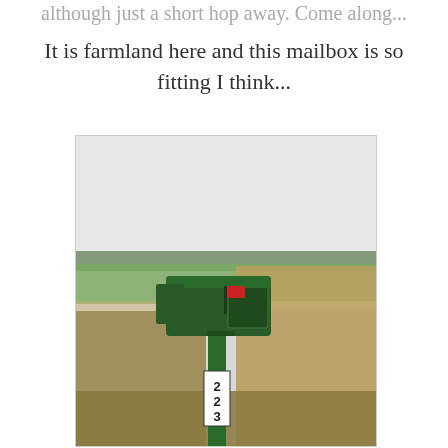although just a short hop away. Come along...
It is farmland here and this mailbox is so fitting I think...
[Figure (photo): A green metal mailbox on a green post with the number 223 displayed vertically on the post. The mailbox has a red flag up. It stands in a rural farmland setting with dry brush and fields visible in the background under an overcast sky.]